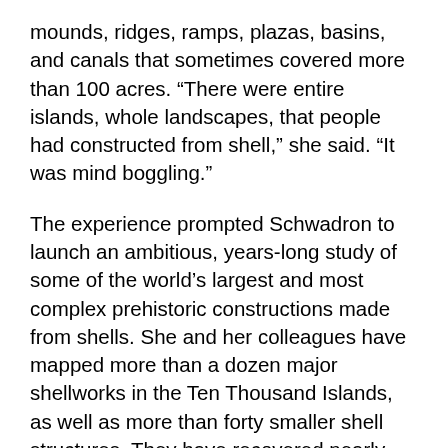mounds, ridges, ramps, plazas, basins, and canals that sometimes covered more than 100 acres. “There were entire islands, whole landscapes, that people had constructed from shell,” she said. “It was mind boggling.”
The experience prompted Schwadron to launch an ambitious, years-long study of some of the world’s largest and most complex prehistoric constructions made from shells. She and her colleagues have mapped more than a dozen major shellworks in the Ten Thousand Islands, as well as more than forty smaller shell structures. They have recovered nearly 50,000 artifacts, including ceramics and tools made from animal bones and shell. Radiocarbon dating of shell fragments and other materials indicates that people began creating the shell structures in the Ten Thousand Islands at least 3,500 years ago, during the Late Archaic period.
The findings are helping reshape how scholars